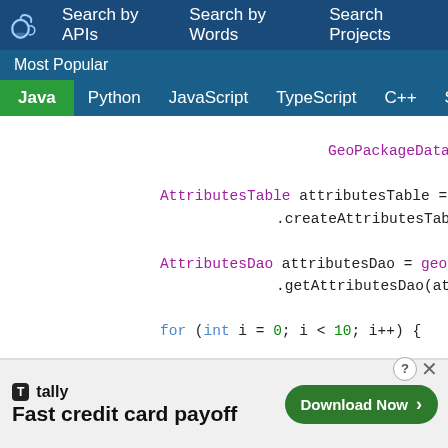Search by APIs   Search by Words   Search Projects
Most Popular
Java   Python   JavaScript   TypeScript   C++   Scala
GeoPackageDataType.D

AttributesTable attributesTable = ge
    .createAttributesTab

AttributesDao attributesDao = geoPac
    .getAttributesDao(at

for (int i = 0; i < 10; i++) {

    AttributesRow newRow = attri

    newRow.setValue(TEXT_COLUMN,
    newRow.setValue(REAL_COLUMN,
    newRow.setValue(BOOLEAN_COLU
[Figure (screenshot): Advertisement banner: Tally - Fast credit card payoff with Download Now button]